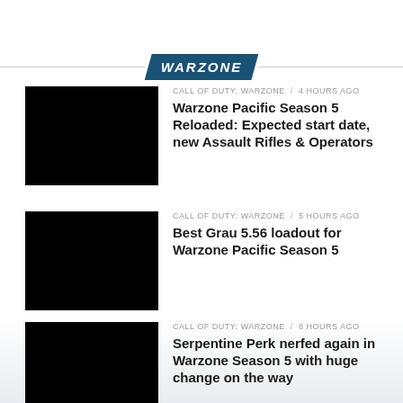WARZONE
[Figure (photo): Black thumbnail image for article 1]
CALL OF DUTY: WARZONE / 4 hours ago
Warzone Pacific Season 5 Reloaded: Expected start date, new Assault Rifles & Operators
[Figure (photo): Black thumbnail image for article 2]
CALL OF DUTY: WARZONE / 5 hours ago
Best Grau 5.56 loadout for Warzone Pacific Season 5
[Figure (photo): Black thumbnail image for article 3]
CALL OF DUTY: WARZONE / 8 hours ago
Serpentine Perk nerfed again in Warzone Season 5 with huge change on the way